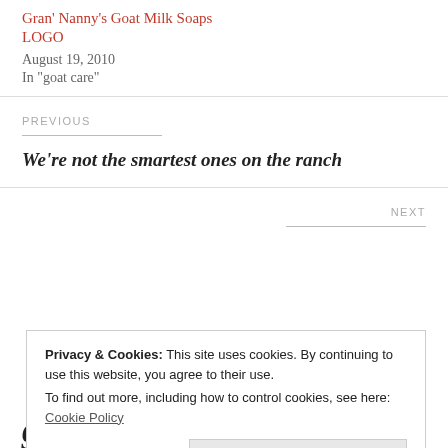Gran' Nanny's Goat Milk Soaps
LOGO
August 19, 2010
In "goat care"
PREVIOUS
We're not the smartest ones on the ranch
NEXT
Privacy & Cookies: This site uses cookies. By continuing to use this website, you agree to their use.
To find out more, including how to control cookies, see here: Cookie Policy
Close and accept